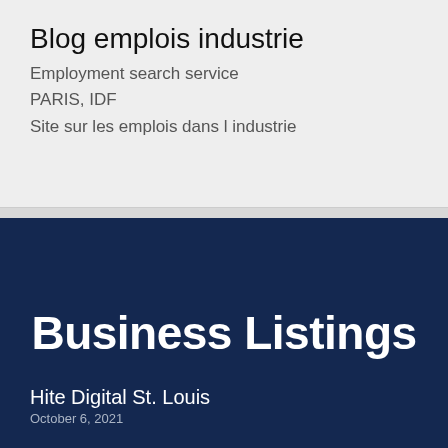Blog emplois industrie
Employment search service
PARIS, IDF
Site sur les emplois dans l industrie
Business Listings
Hite Digital St. Louis
October 6, 2021